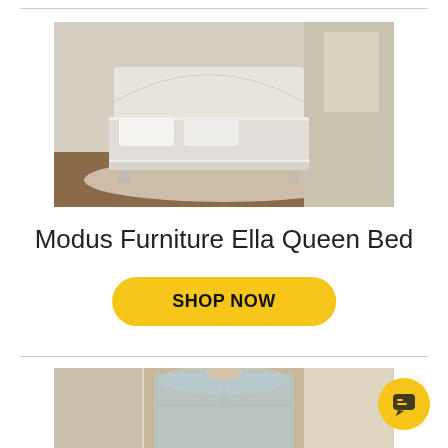[Figure (photo): Photo of a white/cream colored queen bed (Modus Furniture Ella Queen Bed) in a bedroom setting with white bedding and neutral decor]
Modus Furniture Ella Queen Bed
SHOP NOW
[Figure (photo): Photo of a white ornate arched mirror with window pane design, partially visible]